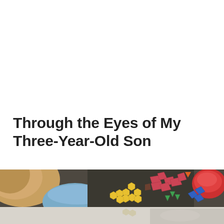Through the Eyes of My Three-Year-Old Son
[Figure (photo): A child looking down at colorful geometric pattern blocks (yellow hexagons, pink/red triangles, green and blue shapes) scattered on a dark table surface, with a red round container at the top right. The bottom portion shows a reflection on a lighter surface.]